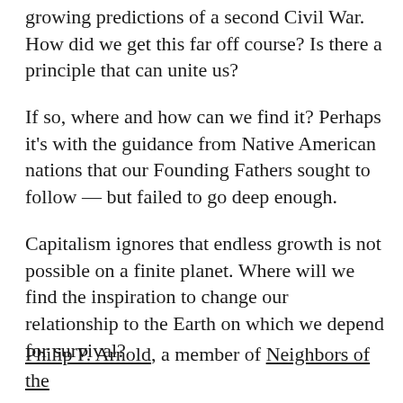growing predictions of a second Civil War. How did we get this far off course? Is there a principle that can unite us?
If so, where and how can we find it? Perhaps it's with the guidance from Native American nations that our Founding Fathers sought to follow — but failed to go deep enough.
Capitalism ignores that endless growth is not possible on a finite planet. Where will we find the inspiration to change our relationship to the Earth on which we depend for survival?
Philip P. Arnold, a member of Neighbors of the